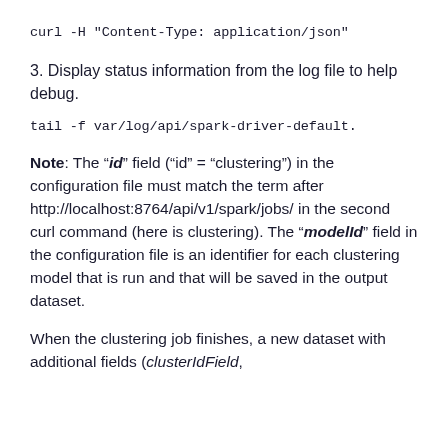curl -H "Content-Type: application/json"
3. Display status information from the log file to help debug.
tail -f var/log/api/spark-driver-default.
Note: The "id" field ("id" = "clustering") in the configuration file must match the term after http://localhost:8764/api/v1/spark/jobs/ in the second curl command (here is clustering). The "modelId" field in the configuration file is an identifier for each clustering model that is run and that will be saved in the output dataset.
When the clustering job finishes, a new dataset with additional fields (clusterIdField,